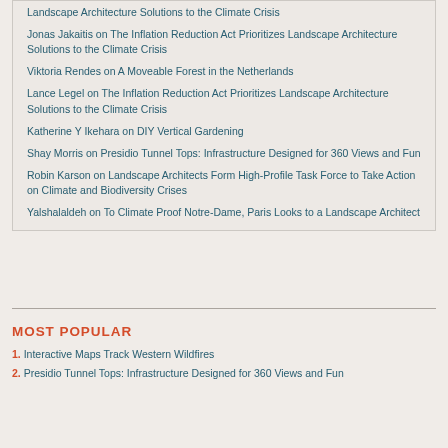Landscape Architecture Solutions to the Climate Crisis
Jonas Jakaitis on The Inflation Reduction Act Prioritizes Landscape Architecture Solutions to the Climate Crisis
Viktoria Rendes on A Moveable Forest in the Netherlands
Lance Legel on The Inflation Reduction Act Prioritizes Landscape Architecture Solutions to the Climate Crisis
Katherine Y Ikehara on DIY Vertical Gardening
Shay Morris on Presidio Tunnel Tops: Infrastructure Designed for 360 Views and Fun
Robin Karson on Landscape Architects Form High-Profile Task Force to Take Action on Climate and Biodiversity Crises
Yalshalaldeh on To Climate Proof Notre-Dame, Paris Looks to a Landscape Architect
MOST POPULAR
1. Interactive Maps Track Western Wildfires
2. Presidio Tunnel Tops: Infrastructure Designed for 360 Views and Fun